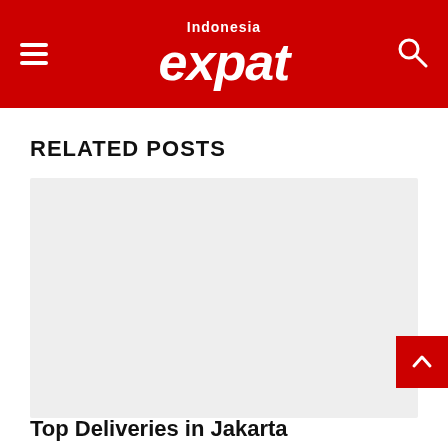Indonesia expat
RELATED POSTS
[Figure (photo): Placeholder grey image for a related post card]
Top Deliveries in Jakarta